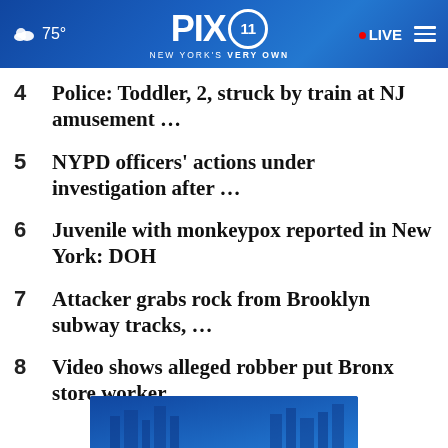PIX11 NEW YORK'S VERY OWN | 75° | LIVE
4 Police: Toddler, 2, struck by train at NJ amusement ...
5 NYPD officers' actions under investigation after ...
6 Juvenile with monkeypox reported in New York: DOH
7 Attacker grabs rock from Brooklyn subway tracks, ...
8 Video shows alleged robber put Bronx store worker ...
[Figure (photo): Blue cityscape / PIX11 background image at bottom of page]